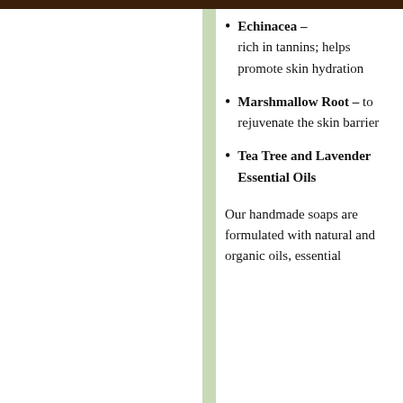Echinacea – rich in tannins; helps promote skin hydration
Marshmallow Root – to rejuvenate the skin barrier
Tea Tree and Lavender Essential Oils
Our handmade soaps are formulated with natural and organic oils, essential